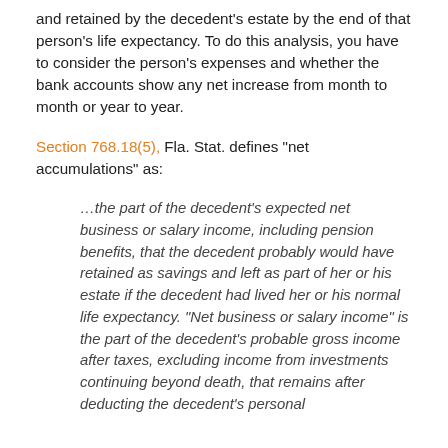and retained by the decedent's estate by the end of that person's life expectancy. To do this analysis, you have to consider the person's expenses and whether the bank accounts show any net increase from month to month or year to year.
Section 768.18(5), Fla. Stat. defines "net accumulations" as:
…the part of the decedent's expected net business or salary income, including pension benefits, that the decedent probably would have retained as savings and left as part of her or his estate if the decedent had lived her or his normal life expectancy. "Net business or salary income" is the part of the decedent's probable gross income after taxes, excluding income from investments continuing beyond death, that remains after deducting the decedent's personal